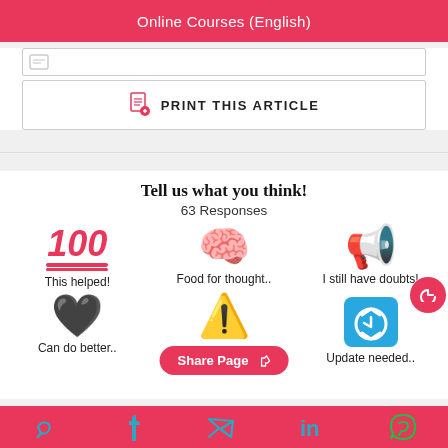Online Courses (English)
PRINT THIS ARTICLE
Tell us what you think!
63 Responses
[Figure (infographic): Three emoji feedback options: 100 emoji (This helped!), brain emoji (Food for thought..), megaphone emoji (I still have doubts!)]
[Figure (infographic): Three emoji feedback options: black heart emoji (Can do better..), warning emoji, refresh emoji (Update needed..)]
Share Page
Social share icons: Telegram, Facebook, Twitter, LinkedIn, WhatsApp